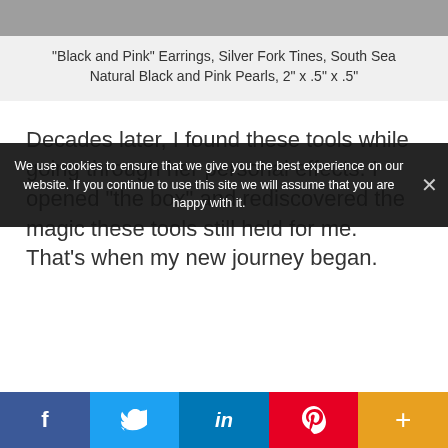[Figure (photo): Top portion of an image (cropped), gray rectangle placeholder]
“Black and Pink” Earrings, Silver Fork Tines, South Sea Natural Black and Pink Pearls, 2” x .5” x .5”
Decades later, I found these tools while going through her personal effects. I opened “the box” and rediscovered the magic these tools still held for me. That’s when my new journey began.
We use cookies to ensure that we give you the best experience on our website. If you continue to use this site we will assume that you are happy with it.
f  Twitter  in  Pinterest  +